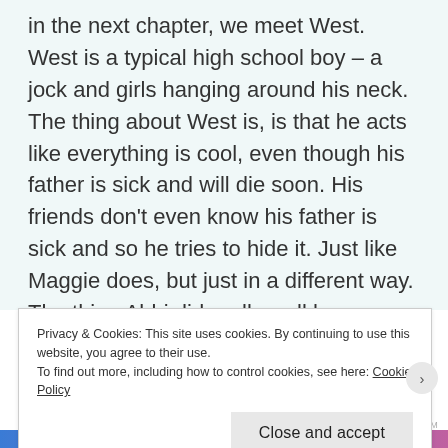in the next chapter, we meet West. West is a typical high school boy – a jock and girls hanging around his neck. The thing about West is, is that he acts like everything is cool, even though his father is sick and will die soon. His friends don't even know his father is sick and so he tries to hide it. Just like Maggie does, but just in a different way. The thing Abbi did really well here was that other people only saw West from the outside, but we as readers, get to see him from the inside and see that he isn't a jerk but is a really sweet, loyal, loving guy and that he's scared of what is going to happen. I loved this. I
Privacy & Cookies: This site uses cookies. By continuing to use this website, you agree to their use.
To find out more, including how to control cookies, see here: Cookie Policy